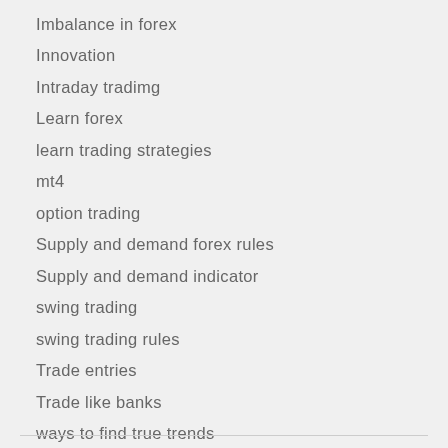Imbalance in forex
Innovation
Intraday tradimg
Learn forex
learn trading strategies
mt4
option trading
Supply and demand forex rules
Supply and demand indicator
swing trading
swing trading rules
Trade entries
Trade like banks
ways to find true trends